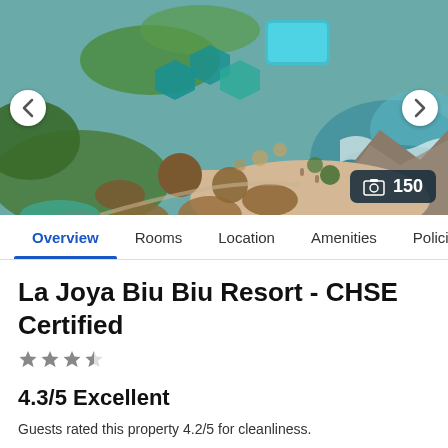[Figure (photo): Aerial view of La Joya Biu Biu Resort showing thatched huts, hexagonal pools, sandy beach, rocky coastline, and ocean waves. Navigation arrows on left and right sides. Photo count badge showing 150.]
Overview  Rooms  Location  Amenities  Policies  R
La Joya Biu Biu Resort - CHSE Certified
★★★½
4.3/5 Excellent
Guests rated this property 4.2/5 for cleanliness.
See all 63 reviews >